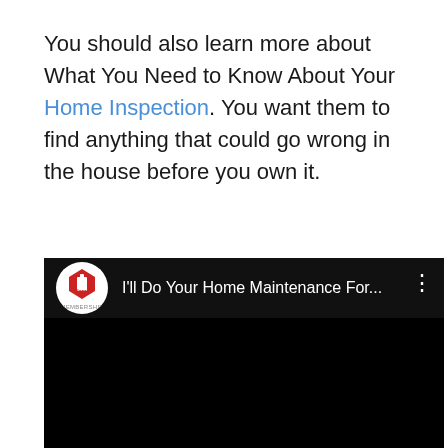You should also learn more about What You Need to Know About Your Home Inspection. You want them to find anything that could go wrong in the house before you own it.
[Figure (screenshot): Embedded YouTube-style video player with black background. Header shows a circular Home Membership logo on the left and the title 'I'll Do Your Home Maintenance For...' in white text, with a three-dot menu icon on the right. The video content area is entirely black.]